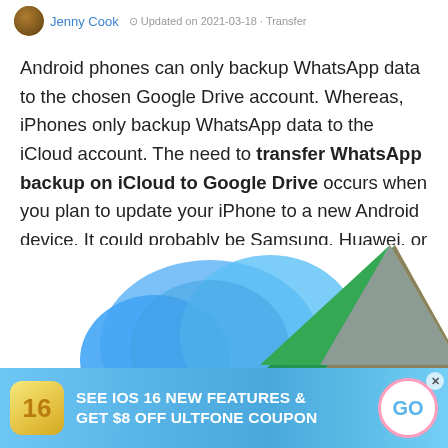Jenny Cook  Updated on 2021-03-18 · Transfer
Android phones can only backup WhatsApp data to the chosen Google Drive account. Whereas, iPhones only backup WhatsApp data to the iCloud account. The need to transfer WhatsApp backup on iCloud to Google Drive occurs when you plan to update your iPhone to a new Android device. It could probably be Samsung, Huawei, or some other Android-operated device. This guide will help you to backup your precious data and cover all your queries.
[Figure (illustration): iCloud logo (blue cloud) on the left and Google Drive logo (colorful triangle) on the right, partially visible at bottom of page]
[Figure (infographic): Advertisement banner: SEE IOS 16 NEW FEATURES & GET $8 OFF ULTFONE COUPON with iOS 16 icon and GO button]